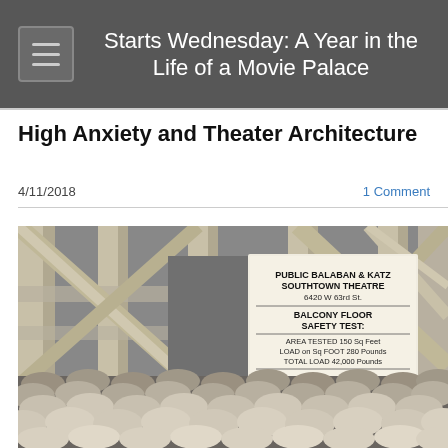Starts Wednesday: A Year in the Life of a Movie Palace
High Anxiety and Theater Architecture
4/11/2018
1 Comment
[Figure (photo): Black and white photograph showing wooden scaffolding/construction with a sign reading 'PUBLIC BALABAN & KATZ SOUTHTOWN THEATRE 6420 W 63rd St BALCONY FLOOR SAFETY TEST: AREA TESTED 150 Sq Feet LOAD on Sq Foot 280 Pounds TOTAL LOAD 42,000 Pounds C. Squared 25-1931' with sandbags stacked below the sign.]